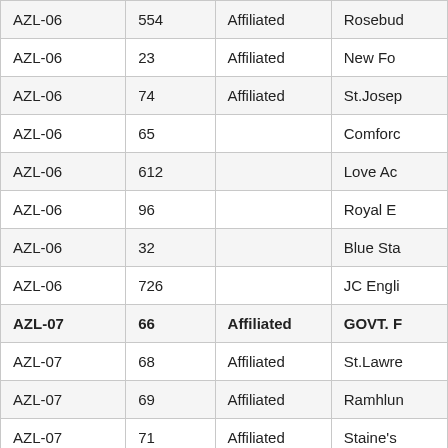| Zone | ID | Type | Name |
| --- | --- | --- | --- |
| AZL-06 | 554 | Affiliated | Rosebud... |
| AZL-06 | 23 | Affiliated | New Fo... |
| AZL-06 | 74 | Affiliated | St.Josep... |
| AZL-06 | 65 |  | Comford... |
| AZL-06 | 612 |  | Love Ac... |
| AZL-06 | 96 |  | Royal E... |
| AZL-06 | 32 |  | Blue Sta... |
| AZL-06 | 726 |  | JC Engli... |
| AZL-07 | 66 | Affiliated | GOVT. F... |
| AZL-07 | 68 | Affiliated | St.Lawre... |
| AZL-07 | 69 | Affiliated | Ramhlun... |
| AZL-07 | 71 | Affiliated | Staine's |
| AZL-07 | 7 | Affiliated | Vincent |
| AZL-07 | 70 |  | Kids Ca... |
| AZL-07 | 678 |  | Presbyte... |